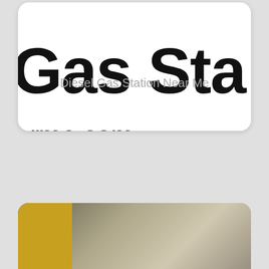Gas Sta
rme.com
Diesel Gas Station Near Me
[Figure (photo): Bottom portion of a webpage screenshot showing a gas station image with yellow and grey/beige tones at the bottom of the page]